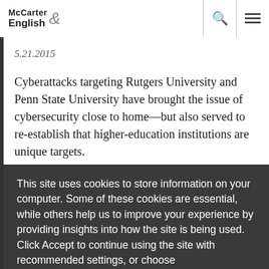McCarter English
5.21.2015
Cyberattacks targeting Rutgers University and Penn State University have brought the issue of cybersecurity close to home—but also served to re-establish that higher-education institutions are unique targets.
Scott Christie, a partner in the cybersecurity
This site uses cookies to store information on your computer. Some of these cookies are essential, while others help us to improve your experience by providing insights into how the site is being used. Click Accept to continue using the site with recommended settings, or choose